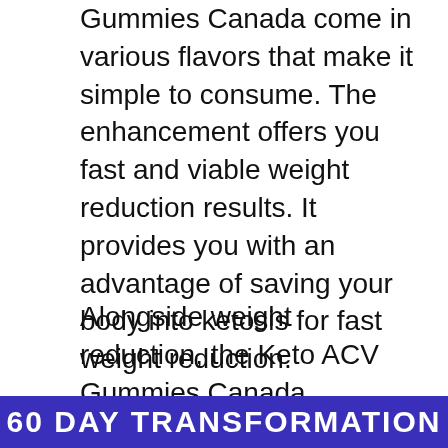Gummies Canada come in various flavors that make it simple to consume. The enhancement offers you fast and viable weight reduction results. It provides you with an advantage of saving your body into ketosis for fast weight reduction.
Alongside weight reduction, the Keto ACV Gummies Canada accompany numerous advantages. A total normal recipe just comprise natural fixings and every one of them are liable for getting thinner and better by and large prosperity of a shopper.
60 DAY TRANSFORMATION